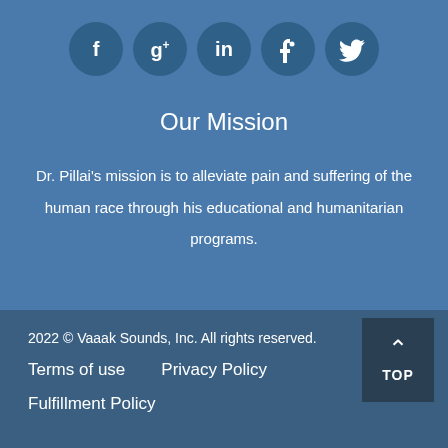[Figure (illustration): Row of five dark blue circular social media icons: Facebook (f), Google+ (g+), LinkedIn (in), Pinterest (p), Twitter (bird)]
Our Mission
Dr. Pillai's mission is to alleviate pain and suffering of the human race through his educational and humanitarian programs.
2022 © Vaaak Sounds, Inc. All rights reserved.
Terms of use   Privacy Policy
Fulfillment Policy